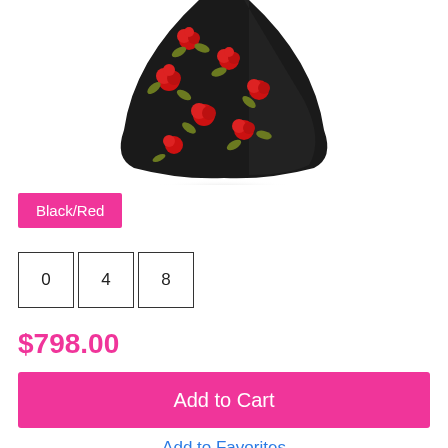[Figure (photo): A long black gown/dress with red floral (rose) embroidery and gold-green leaves, displayed against a white background. The skirt portion is shown spreading out at the bottom.]
Black/Red
0   4   8
$798.00
Add to Cart
Add to Favorites